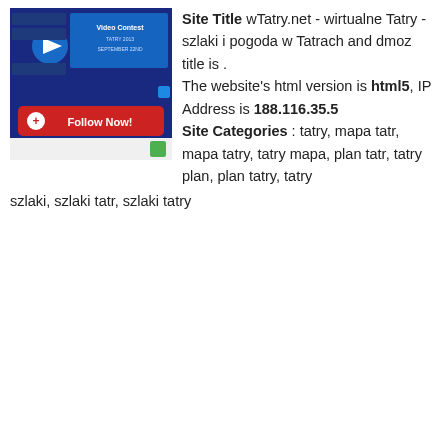[Figure (screenshot): Screenshot of wTatry.net website with a Follow Now! button in red at the bottom, displayed on a dark blue background with video contest banner.]
Site Title wTatry.net - wirtualne Tatry - szlaki i pogoda w Tatrach and dmoz title is . The website's html version is html5, IP Address is 188.116.35.5 Site Categories : tatry, mapa tatr, mapa tatry, tatry mapa, plan tatr, tatry plan, plan tatry, tatry szlaki, szlaki tatr, szlaki tatry